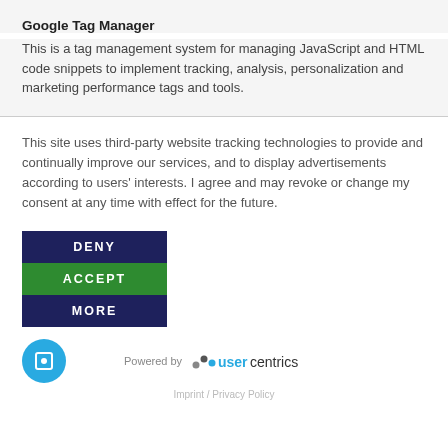Google Tag Manager
This is a tag management system for managing JavaScript and HTML code snippets to implement tracking, analysis, personalization and marketing performance tags and tools.
This site uses third-party website tracking technologies to provide and continually improve our services, and to display advertisements according to users' interests. I agree and may revoke or change my consent at any time with effect for the future.
DENY
ACCEPT
MORE
[Figure (logo): Usercentrics logo with 'Powered by usercentrics' text and circular icon]
Imprint / Privacy Policy